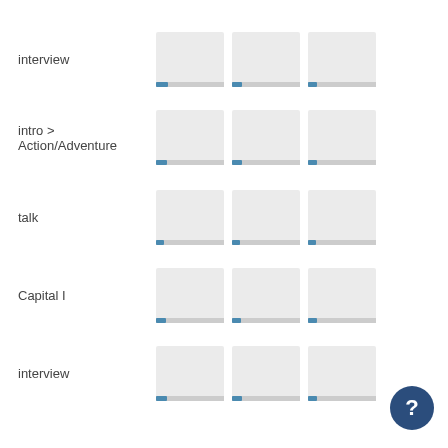interview
[Figure (other): Row of 3 thumbnail placeholders with blue progress bars]
intro > Action/Adventure
[Figure (other): Row of 3 thumbnail placeholders with blue progress bars]
talk
[Figure (other): Row of 3 thumbnail placeholders with blue progress bars]
Capital I
[Figure (other): Row of 3 thumbnail placeholders with blue progress bars]
interview
[Figure (other): Row of 3 thumbnail placeholders with blue progress bars]
Skin Is, My
[Figure (other): Row of 3 thumbnail placeholders with blue progress bars]
talk
[Figure (other): Row of 3 thumbnail placeholders with blue progress bars]